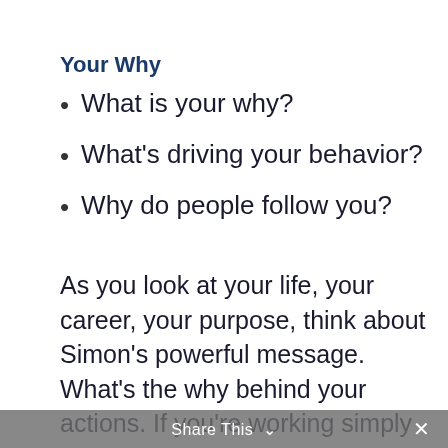Your Why
What is your why?
What's driving your behavior?
Why do people follow you?
As you look at your life, your career, your purpose, think about Simon's powerful message. What's the why behind your actions. If you're working simply for a paycheck, you aren't tapping into your potential. It's the why that matters. The why pushes you forward. The why drives commitment when things are
Share This ✓  ✕